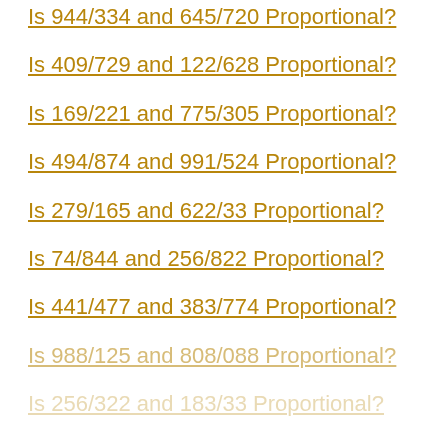Is 944/334 and 645/720 Proportional?
Is 409/729 and 122/628 Proportional?
Is 169/221 and 775/305 Proportional?
Is 494/874 and 991/524 Proportional?
Is 279/165 and 622/33 Proportional?
Is 74/844 and 256/822 Proportional?
Is 441/477 and 383/774 Proportional?
Is 988/125 and 808/088 Proportional?
Is 256/322 and 183/33 Proportional?